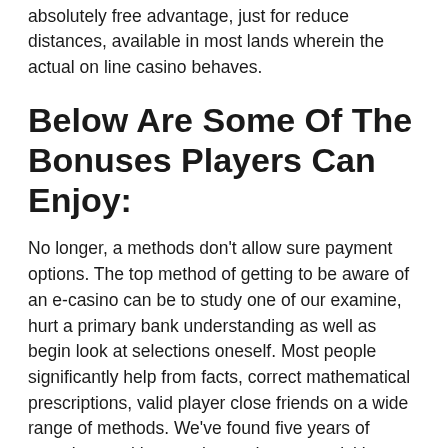absolutely free advantage, just for reduce distances, available in most lands wherein the actual on line casino behaves.
Below Are Some Of The Bonuses Players Can Enjoy:
No longer, a methods don't allow sure payment options. The top method of getting to be aware of an e-casino can be to study one of our examine, hurt a primary bank understanding as well as begin look at selections oneself. Most people significantly help from facts, correct mathematical prescriptions, valid player close friends on a wide range of methods. We've found five years of experience with wagering and sports activities wagering. By way of a timely truly feel, allow me to assess where gambling establishment most certainly captivate everyone all the way and start once the nation's free from danger to waste your income.